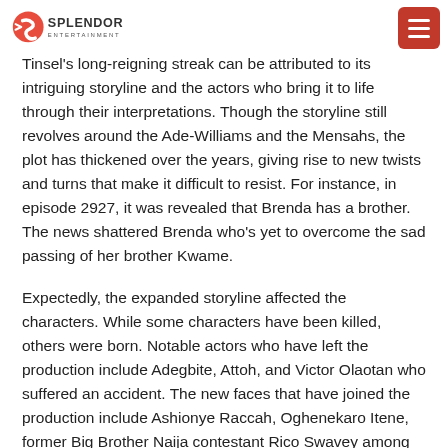Splendor Entertainment
Tinsel's long-reigning streak can be attributed to its intriguing storyline and the actors who bring it to life through their interpretations. Though the storyline still revolves around the Ade-Williams and the Mensahs, the plot has thickened over the years, giving rise to new twists and turns that make it difficult to resist. For instance, in episode 2927, it was revealed that Brenda has a brother. The news shattered Brenda who's yet to overcome the sad passing of her brother Kwame.
Expectedly, the expanded storyline affected the characters. While some characters have been killed, others were born. Notable actors who have left the production include Adegbite, Attoh, and Victor Olaotan who suffered an accident. The new faces that have joined the production include Ashionye Raccah, Oghenekaro Itene, former Big Brother Naija contestant Rico Swavey among others. Popular Nollywood acts have also graced the small screen production. They include Bimbo Manuel (93 Days) Ann Njemanze (Domitilla), Yul Edochie (Moms at War), Alexx Ekubo (The Bling Lagosians) Kalu Ikeagwu (Lionheart), Shaffy Bello (Chief Daddy) and Joseph Benjamin (Mr. and Mrs.).
Some actors have been part of the soap right from inception. They